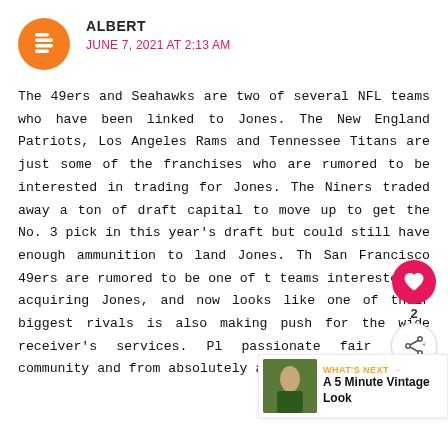ALBERT
JUNE 7, 2021 AT 2:13 AM
The 49ers and Seahawks are two of several NFL teams who have been linked to Jones. The New England Patriots, Los Angeles Rams and Tennessee Titans are just some of the franchises who are rumored to be interested in trading for Jones. The Niners traded away a ton of draft capital to move up to get the No. 3 pick in this year's draft but could still have enough ammunition to land Jones. The San Francisco 49ers are rumored to be one of the teams interested in acquiring Jones, and now looks like one of their biggest rivals is also making a push for the wide receiver's services. Plus a passionate fair trade community and shop from absolutely anywhere.